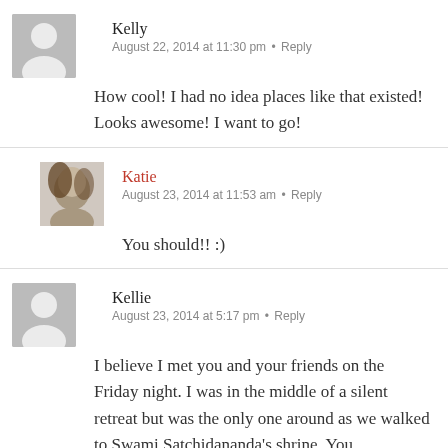Kelly
August 22, 2014 at 11:30 pm • Reply
How cool! I had no idea places like that existed! Looks awesome! I want to go!
Katie
August 23, 2014 at 11:53 am • Reply
You should!! :)
Kellie
August 23, 2014 at 5:17 pm • Reply
I believe I met you and your friends on the Friday night. I was in the middle of a silent retreat but was the only one around as we walked to Swami Satchidananda's shrine. You